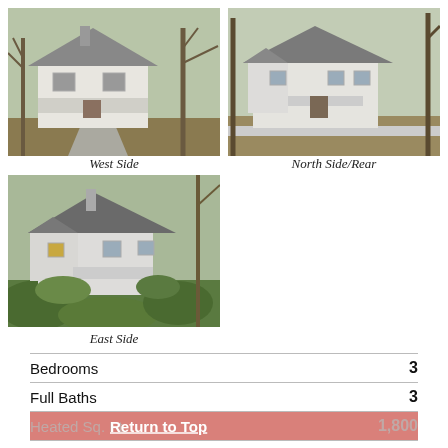[Figure (photo): Exterior photo of a white house from the West Side, with trees and a driveway visible]
[Figure (photo): Exterior photo of a white house from the North Side/Rear, showing front facade with porch]
West Side
North Side/Rear
[Figure (photo): Exterior photo of a white house from the East Side, partially overgrown with vegetation]
East Side
|  |  |
| --- | --- |
| Bedrooms | 3 |
| Full Baths | 3 |
| Heated Sq. Ft. | 1,800 |
| Stories | 2 |